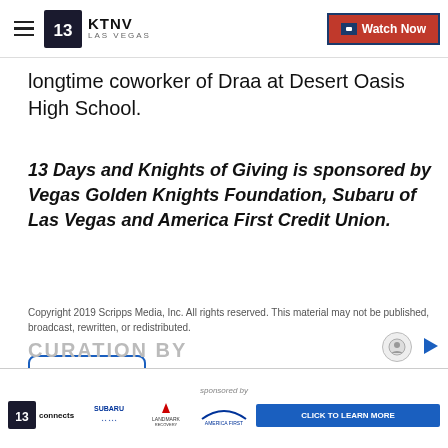KTNV LAS VEGAS — Watch Now
longtime coworker of Draa at Desert Oasis High School.
13 Days and Knights of Giving is sponsored by Vegas Golden Knights Foundation, Subaru of Las Vegas and America First Credit Union.
Copyright 2019 Scripps Media, Inc. All rights reserved. This material may not be published, broadcast, rewritten, or redistributed.
Report a typo
CURATION BY
[Figure (infographic): Advertisement banner: sponsored by 13 connects, Subaru, Landmark Recovery, America First — with CLICK TO LEARN MORE button]